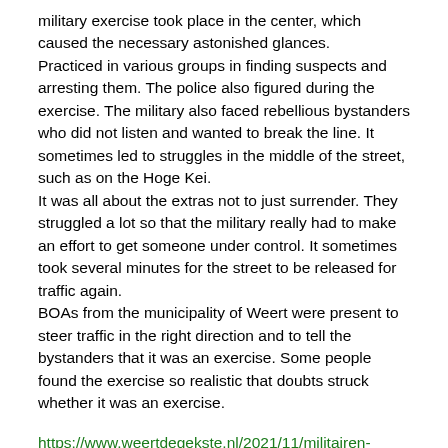military exercise took place in the center, which caused the necessary astonished glances.
Practiced in various groups in finding suspects and arresting them. The police also figured during the exercise. The military also faced rebellious bystanders who did not listen and wanted to break the line. It sometimes led to struggles in the middle of the street, such as on the Hoge Kei.
It was all about the extras not to just surrender. They struggled a lot so that the military really had to make an effort to get someone under control. It sometimes took several minutes for the street to be released for traffic again.
BOAs from the municipality of Weert were present to steer traffic in the right direction and to tell the bystanders that it was an exercise. Some people found the exercise so realistic that doubts struck whether it was an exercise.
https://www.weertdegekste.nl/2021/11/militairen-worstelen-op-straat-tijdens-oefening-in-weerter-binnenstad/
~~~~~~~~~~~~~~~~~~~
and they had a link to a video.